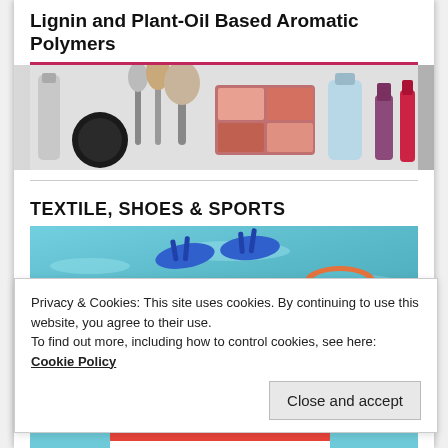Lignin and Plant-Oil Based Aromatic Polymers
[Figure (photo): A row of cosmetics products including brushes, lipstick, eyeshadow palette, foundation, and mascara on a white background]
TEXTILE, SHOES & SPORTS
[Figure (photo): Blue flip-flops floating in a bright turquoise swimming pool with a pool float]
Privacy & Cookies: This site uses cookies. By continuing to use this website, you agree to their use.
To find out more, including how to control cookies, see here: Cookie Policy
[Figure (photo): Woman in a red and white striped swimsuit wearing sunglasses, lying on a beach towel by a pool]